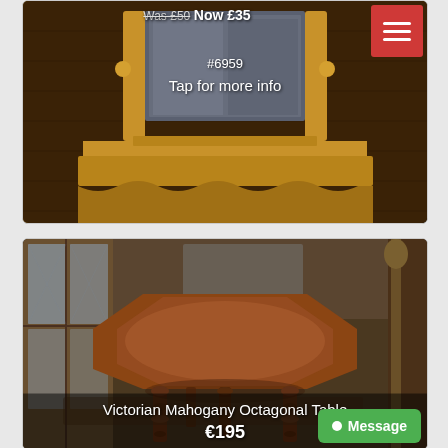[Figure (photo): Antique wooden dressing mirror with carved wavy base on a dark wood dresser. Overlay text shows item #6959 and 'Tap for more info'. Price shown as 'Was £50 Now £35'. Hamburger menu icon in top right with red background.]
[Figure (photo): Victorian Mahogany Octagonal Table with turned legs displayed in an antique shop setting. Price €195 shown in overlay. Green Message button in bottom right corner.]